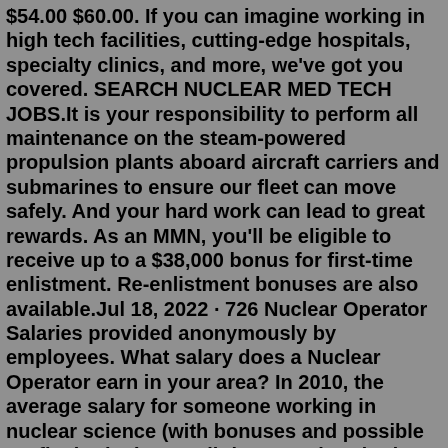$54.00 $60.00. If you can imagine working in high tech facilities, cutting-edge hospitals, specialty clinics, and more, we've got you covered. SEARCH NUCLEAR MED TECH JOBS.It is your responsibility to perform all maintenance on the steam-powered propulsion plants aboard aircraft carriers and submarines to ensure our fleet can move safely. And your hard work can lead to great rewards. As an MMN, you'll be eligible to receive up to a $38,000 bonus for first-time enlistment. Re-enlistment bonuses are also available.Jul 18, 2022 · 726 Nuclear Operator Salaries provided anonymously by employees. What salary does a Nuclear Operator earn in your area? In 2010, the average salary for someone working in nuclear science (with bonuses and possible profit sharing) was a little over a hundred grand—$70,000 on the low end of the scale and $140,000 on the high end ( source ). For a recent college grad, even that low amount ain't chump change. But for someone supporting a family of five, acquiring ...Jul 18, 2022 · Salaries estimates are based on 383 salaries